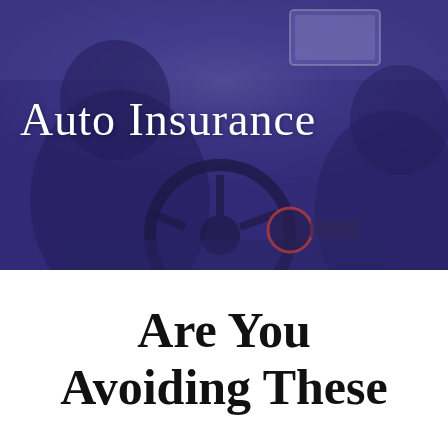[Figure (photo): Car interior photo showing driver and passenger from behind, with steering wheel, dashboard, and rearview mirror visible. The image has a purple/indigo color overlay. White text 'Auto Insurance' is overlaid on the image.]
Are You Avoiding These